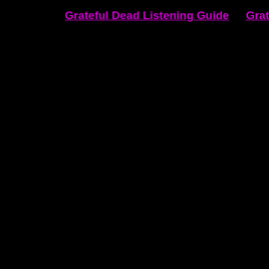Grateful Dead Listening Guide    Grateful Dead
[Figure (illustration): Grateful Dead album artwork showing a colorful painted scene of a wooden building with a sign reading 'TERRAPIN' partially visible, lush green tropical plants in the foreground, and cartoon-style turtles/terrapins playing music, with warm yellow and green lighting. The image is cropped showing the right portion of the artwork.]